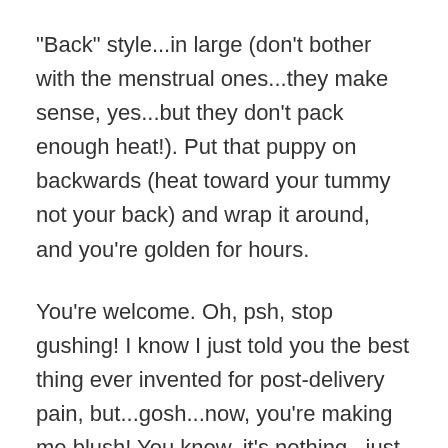"Back" style...in large (don't bother with the menstrual ones...they make sense, yes...but they don't pack enough heat!). Put that puppy on backwards (heat toward your tummy not your back) and wrap it around, and you're golden for hours.
You're welcome. Oh, psh, stop gushing! I know I just told you the best thing ever invented for post-delivery pain, but...gosh...now, you're making me blush! You know, it's nothing...just a little woman-to-woman recommendation.